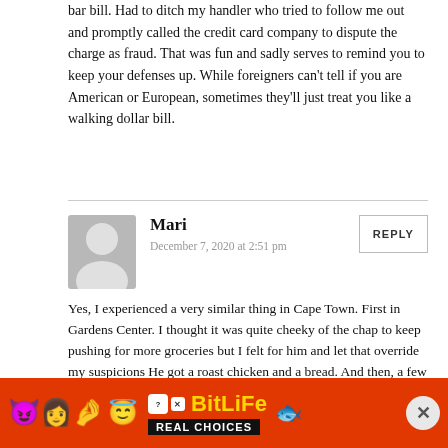bar bill. Had to ditch my handler who tried to follow me out and promptly called the credit card company to dispute the charge as fraud. That was fun and sadly serves to remind you to keep your defenses up. While foreigners can't tell if you are American or European, sometimes they'll just treat you like a walking dollar bill.
Mari
December 7, 2020 at 2:51 pm
Yes, I experienced a very similar thing in Cape Town. First in Gardens Center. I thought it was quite cheeky of the chap to keep pushing for more groceries but I felt for him and let that override my suspicions He got a roast chicken and a bread. And then, a few months later, the same guy tried it with me again at Lifestyle on Kloof. I kinda lost it with him. It's not a great feeling to be taken in that way, but lesson learnt.
Matthew Klint
[Figure (infographic): BitLife advertisement banner with emojis and 'REAL CHOICES' text]